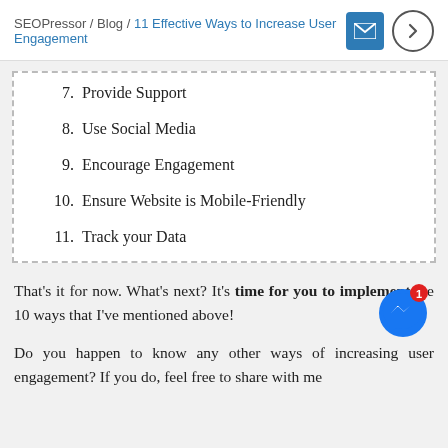SEOPressor / Blog / 11 Effective Ways to Increase User Engagement
7.  Provide Support
8.  Use Social Media
9.  Encourage Engagement
10.  Ensure Website is Mobile-Friendly
11.  Track your Data
That's it for now. What's next? It's time for you to implement the 10 ways that I've mentioned above!
Do you happen to know any other ways of increasing user engagement? If you do, feel free to share with me